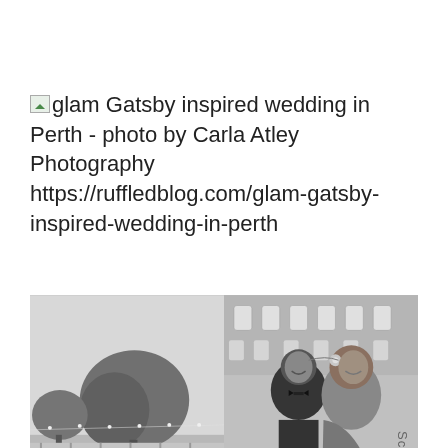glam Gatsby inspired wedding in Perth - photo by Carla Atley Photography https://ruffledblog.com/glam-gatsby-inspired-wedding-in-perth
[Figure (photo): Two black and white wedding photos side by side: left shows an outdoor garden wedding venue with a large tree and string lights; right shows a smiling groom in a tuxedo and bride with curly hair and decorative hairpiece leaning together]